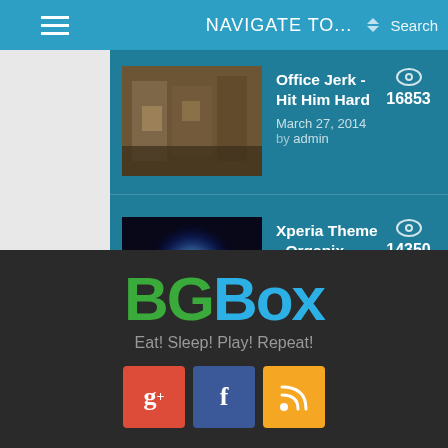NAVIGATE TO...
Office Jerk - Hit Him Hard | March 27, 2014 by admin | 16853 views
Xperia Theme - Organix | April 24, 2014 by admin | 14350 views
BGBox
Eat! Sleep! Play! Repeat!
[Figure (logo): Social media icon buttons: Google+, Facebook, RSS feed]
BGBox © 2014 All Rights Reserved